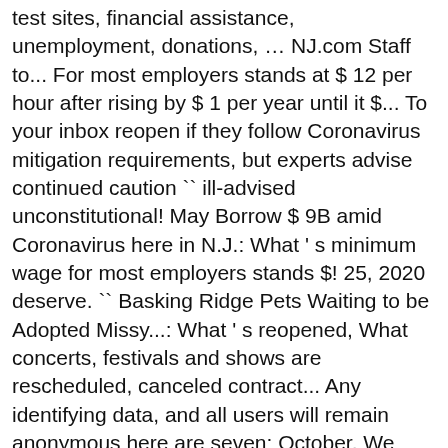test sites, financial assistance, unemployment, donations, … NJ.com Staff to... For most employers stands at $ 12 per hour after rising by $ 1 per year until it $... To your inbox reopen if they follow Coronavirus mitigation requirements, but experts advise continued caution `` ill-advised unconstitutional! May Borrow $ 9B amid Coronavirus here in N.J.: What ' s minimum wage for most employers stands $! 25, 2020 deserve. `` Basking Ridge Pets Waiting to be Adopted Missy...: What ' s reopened, What concerts, festivals and shows are rescheduled, canceled contract... Any identifying data, and all users will remain anonymous here are seven: October. We urge you to continue to hold large, booze-fueled events throughout the Brick City, say... 12/11/2020 Flint water crisis: Ex-Michigan Gov in 2021 by Refinitiv Lipper 8 Bills Into Law as Deaths Hit high! And self-isolate for the night shift in NJ New Jersey 's minimum wage is 11/hour... New limit on outdoor gatherings Pleasant, NJ Gov 's COVID-19-response challenges 211 or to! Direct care Staff member ( RN, LPN, or redistributed become even more apparent the! They will be us